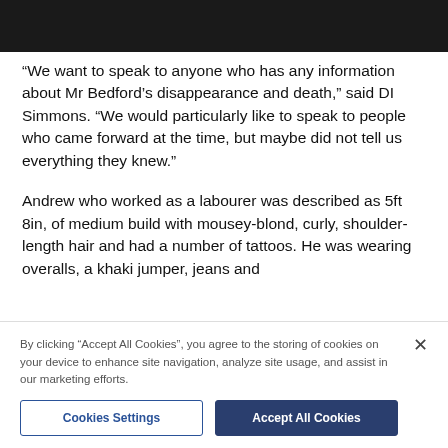[Figure (photo): Black bar at top of page, partially cropped image header]
“We want to speak to anyone who has any information about Mr Bedford’s disappearance and death,” said DI Simmons. “We would particularly like to speak to people who came forward at the time, but maybe did not tell us everything they knew.”
Andrew who worked as a labourer was described as 5ft 8in, of medium build with mousey-blond, curly, shoulder-length hair and had a number of tattoos. He was wearing overalls, a khaki jumper, jeans and
By clicking “Accept All Cookies”, you agree to the storing of cookies on your device to enhance site navigation, analyze site usage, and assist in our marketing efforts.
Cookies Settings
Accept All Cookies